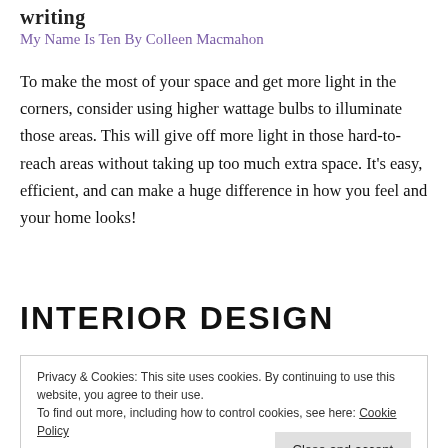writing
My Name Is Ten By Colleen Macmahon
To make the most of your space and get more light in the corners, consider using higher wattage bulbs to illuminate those areas. This will give off more light in those hard-to-reach areas without taking up too much extra space. It’s easy, efficient, and can make a huge difference in how you feel and your home looks!
INTERIOR DESIGN
Privacy & Cookies: This site uses cookies. By continuing to use this website, you agree to their use.
To find out more, including how to control cookies, see here: Cookie Policy
Close and accept